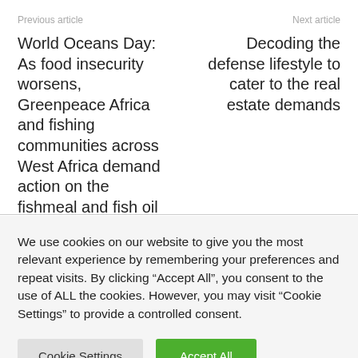Previous article    Next article
World Oceans Day: As food insecurity worsens, Greenpeace Africa and fishing communities across West Africa demand action on the fishmeal and fish oil industry “to prevent a human catastrophe”
Decoding the defense lifestyle to cater to the real estate demands
We use cookies on our website to give you the most relevant experience by remembering your preferences and repeat visits. By clicking “Accept All”, you consent to the use of ALL the cookies. However, you may visit “Cookie Settings” to provide a controlled consent.